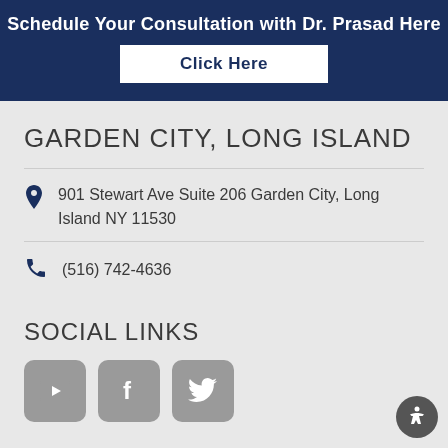Schedule Your Consultation with Dr. Prasad Here
Click Here
GARDEN CITY, LONG ISLAND
901 Stewart Ave Suite 206 Garden City, Long Island NY 11530
(516) 742-4636
SOCIAL LINKS
[Figure (illustration): Three social media icon buttons: YouTube, Facebook, Twitter, rendered as grey rounded square icons]